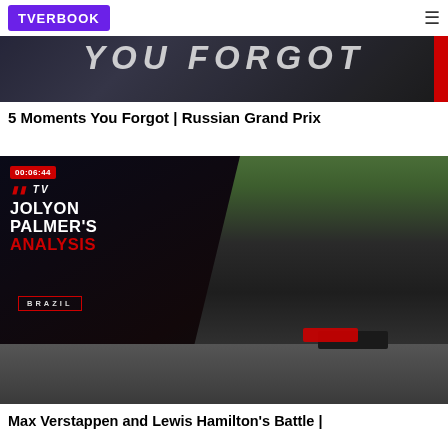TVERBOOK
[Figure (screenshot): Thumbnail for F1 video '5 Moments You Forgot | Russian Grand Prix' showing bold white text on dark background with red stripe]
5 Moments You Forgot | Russian Grand Prix
[Figure (screenshot): Thumbnail for F1 TV Jolyon Palmer's Analysis - Brazil. Shows '00:06:44' duration badge, F1 TV logo, 'JOLYON PALMER'S ANALYSIS' text, 'BRAZIL' label, F1 cars on track, and quote '"MAX WAS NOWHERE NEAR MAKING THE CORNER"']
Max Verstappen and Lewis Hamilton's Battle |